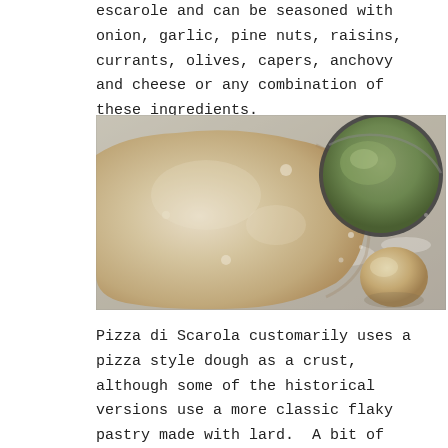escarole and can be seasoned with onion, garlic, pine nuts, raisins, currants, olives, capers, anchovy and cheese or any combination of these ingredients.
[Figure (photo): Overhead view of pizza dough on a floured surface with a round pan containing olive oil in the upper right and a small round dough ball in the lower right.]
Pizza di Scarola customarily uses a pizza style dough as a crust, although some of the historical versions use a more classic flaky pastry made with lard.  A bit of whole wheat flour added to my favorite pizza dough